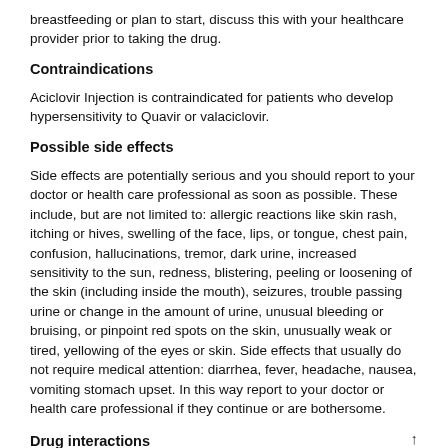breastfeeding or plan to start, discuss this with your healthcare provider prior to taking the drug.
Contraindications
Aciclovir Injection is contraindicated for patients who develop hypersensitivity to Quavir or valaciclovir.
Possible side effects
Side effects are potentially serious and you should report to your doctor or health care professional as soon as possible. These include, but are not limited to: allergic reactions like skin rash, itching or hives, swelling of the face, lips, or tongue, chest pain, confusion, hallucinations, tremor, dark urine, increased sensitivity to the sun, redness, blistering, peeling or loosening of the skin (including inside the mouth), seizures, trouble passing urine or change in the amount of urine, unusual bleeding or bruising, or pinpoint red spots on the skin, unusually weak or tired, yellowing of the eyes or skin. Side effects that usually do not require medical attention: diarrhea, fever, headache, nausea, vomiting stomach upset. In this way report to your doctor or health care professional if they continue or are bothersome.
Drug interactions
There are negative interactions that can occur when Aciclovir is combined